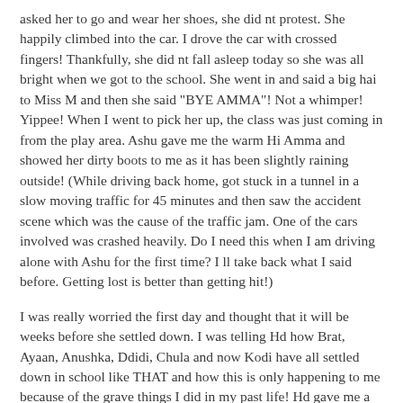asked her to go and wear her shoes, she did nt protest. She happily climbed into the car. I drove the car with crossed fingers! Thankfully, she did nt fall asleep today so she was all bright when we got to the school. She went in and said a big hai to Miss M and then she said "BYE AMMA"! Not a whimper! Yippee! When I went to pick her up, the class was just coming in from the play area. Ashu gave me the warm Hi Amma and showed her dirty boots to me as it has been slightly raining outside! (While driving back home, got stuck in a tunnel in a slow moving traffic for 45 minutes and then saw the accident scene which was the cause of the traffic jam. One of the cars involved was crashed heavily. Do I need this when I am driving alone with Ashu for the first time? I ll take back what I said before. Getting lost is better than getting hit!)
I was really worried the first day and thought that it will be weeks before she settled down. I was telling Hd how Brat, Ayaan, Anushka, Ddidi, Chula and now Kodi have all settled down in school like THAT and how this is only happening to me because of the grave things I did in my past life! Hd gave me a dirty look and asked me to shut up. I agree now that I deserved it.
Some of the things that have helped the smooth transition -